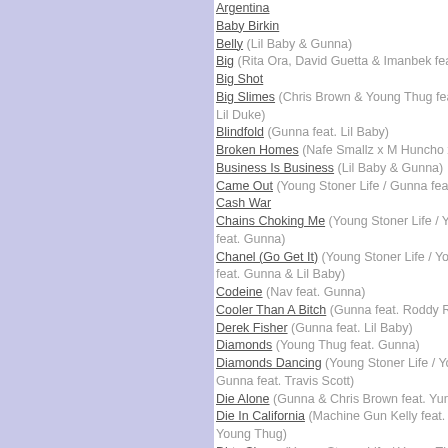Argentina
Baby Birkin
Belly (Lil Baby & Gunna)
Big (Rita Ora, David Guetta & Imanbek feat. Gunn…
Big Shot
Big Slimes (Chris Brown & Young Thug feat. Gunn… Lil Duke)
Blindfold (Gunna feat. Lil Baby)
Broken Homes (Nafe Smallz x M Huncho x Gunn…
Business Is Business (Lil Baby & Gunna)
Came Out (Young Stoner Life / Gunna feat. Lil Ke…
Cash War
Chains Choking Me (Young Stoner Life / Young Th… feat. Gunna)
Chanel (Go Get It) (Young Stoner Life / Young Th… feat. Gunna & Lil Baby)
Codeine (Nav feat. Gunna)
Cooler Than A Bitch (Gunna feat. Roddy Ricch)
Derek Fisher (Gunna feat. Lil Baby)
Diamonds (Young Thug feat. Gunna)
Diamonds Dancing (Young Stoner Life / Young Th… Gunna feat. Travis Scott)
Die Alone (Gunna & Chris Brown feat. Yung Bleu)
Die In California (Machine Gun Kelly feat. Gunna Young Thug)
Dirty Shoes (Young Stoner Life / Young Thug feat. Gunna)
Do Better
Dollaz On My Head (Gunna feat. Young Thug)
Don't I (Roddy Ricch feat. Gunna)
Don't Play Around
Drip Too Hard (Lil Baby / Gunna)
Eat (Nav feat. Gunna)
Fall Threw (Rich The Kid feat. Young Thug & Gun…
Fallin' In Luv (Lil Yachty feat. Gunna)
Far (Gunna feat. Young Thug)
Feefa (6ix9ine feat. Gunna)